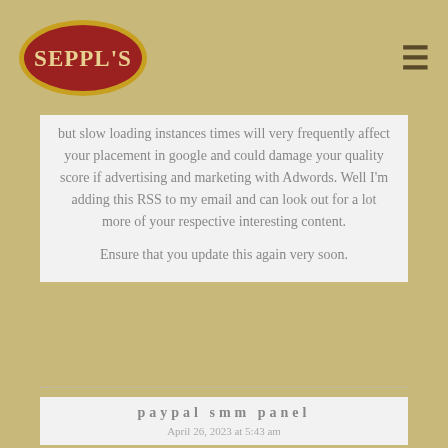[Figure (logo): Seppl's restaurant logo: red oval with gold border, white text 'SEPPL'S' in bold serif font]
but slow loading instances times will very frequently affect your placement in google and could damage your quality score if advertising and marketing with Adwords. Well I'm adding this RSS to my email and can look out for a lot more of your respective interesting content.

Ensure that you update this again very soon.
paypal smm panel
April 26, 2023 at 5:43 am